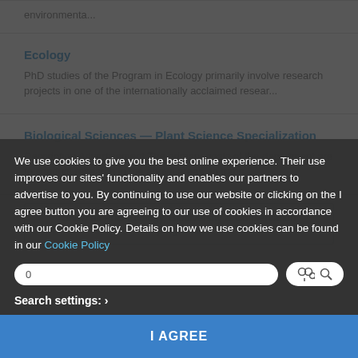environmenta...
Ecology
PhD studies of the Program in Ecology primarily involve research projects in one of the internationally acclaimed resear...
Biological Sciences — Plant Science Specialization
Description Advertisement The primary goals of the department are to conduct research in the above areas, to trans...
Show all PhD Ecology, Biodiversity & Conservation programs
We use cookies to give you the best online experience. Their use improves our sites' functionality and enables our partners to advertise to you. By continuing to use our website or clicking on the I agree button you are agreeing to our use of cookies in accordance with our Cookie Policy. Details on how we use cookies can be found in our Cookie Policy
Search settings: ›
I AGREE